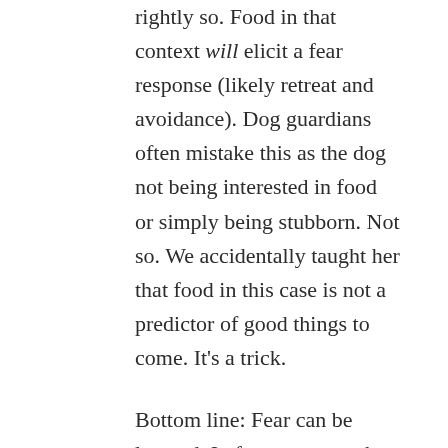rightly so. Food in that context will elicit a fear response (likely retreat and avoidance). Dog guardians often mistake this as the dog not being interested in food or simply being stubborn. Not so. We accidentally taught her that food in this case is not a predictor of good things to come. It’s a trick.
Bottom line: Fear can be learned. In fact we remember fearful events for a very long time. Seemingly harmless triggers can get hooked into fear. Only unpleasant outcomes (think scary or painful) reinforce fear. Food can become one of those